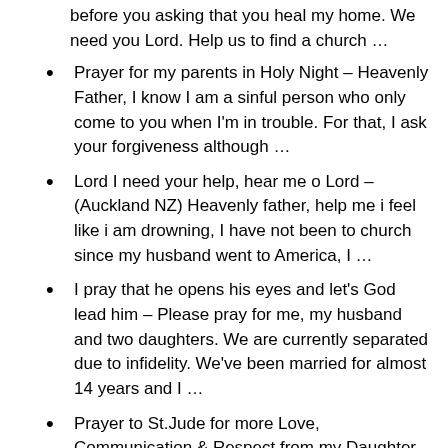before you asking that you heal my home. We need you Lord. Help us to find a church …
Prayer for my parents in Holy Night – Heavenly Father, I know I am a sinful person who only come to you when I'm in trouble. For that, I ask your forgiveness although …
Lord I need your help, hear me o Lord – (Auckland NZ) Heavenly father, help me i feel like i am drowning, I have not been to church since my husband went to America, I …
I pray that he opens his eyes and let's God lead him – Please pray for me, my husband and two daughters. We are currently separated due to infidelity. We've been married for almost 14 years and I …
Prayer to St.Jude for more Love, Communication & Respect from my Daughter – Thank you St.Jude for listening and answering my prayer today. My daughter, Alexa and I have a great relationship. We are close. I ask you …
Prayer to Heal and mend this broken family and keep us together. – God release any hold that the devil may have on